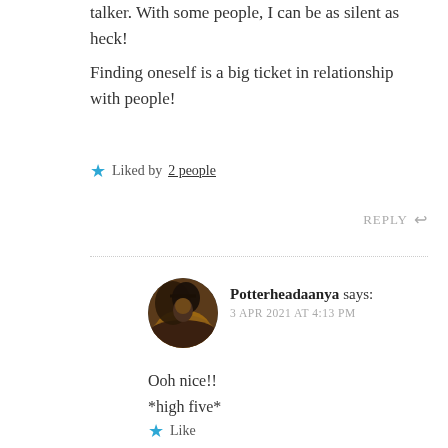talker. With some people, I can be as silent as heck!
Finding oneself is a big ticket in relationship with people!
★ Liked by 2 people
REPLY ↩
Potterheadaanya says: 3 APR 2021 AT 4:13 PM
Ooh nice!!
*high five*
★ Like